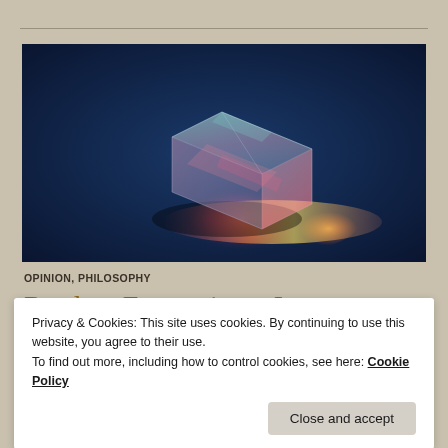[Figure (photo): A glass or crystal cube floating against a dark blue background, refracting light with pink and teal iridescent reflections and a glowing light beam beneath it.]
OPINION, PHILOSOPHY
Restless Frustration – Inner
Privacy & Cookies: This site uses cookies. By continuing to use this website, you agree to their use.
To find out more, including how to control cookies, see here: Cookie Policy
Close and accept
harmonious hyper field. We focus on a restless